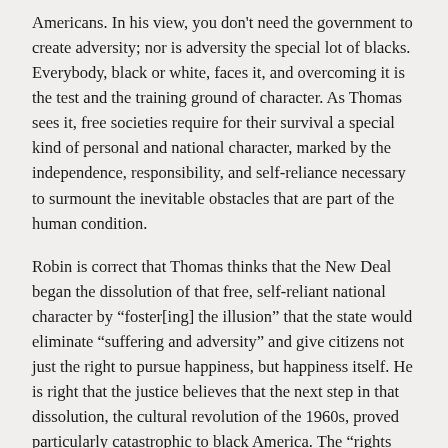Americans. In his view, you don't need the government to create adversity; nor is adversity the special lot of blacks. Everybody, black or white, faces it, and overcoming it is the test and the training ground of character. As Thomas sees it, free societies require for their survival a special kind of personal and national character, marked by the independence, responsibility, and self-reliance necessary to surmount the inevitable obstacles that are part of the human condition.
Robin is correct that Thomas thinks that the New Deal began the dissolution of that free, self-reliant national character by “foster[ing] the illusion” that the state would eliminate “suffering and adversity” and give citizens not just the right to pursue happiness, but happiness itself. He is right that the justice believes that the next step in that dissolution, the cultural revolution of the 1960s, proved particularly catastrophic to black America. The “rights revolution”—the Warren Court’s undermining of the authority of police to fight crime and drugs, and to preserve order, and of teachers and principals to discipline disruptive kids—the sexual revolution, and the come-and-get-it welfarism of the decade led to an